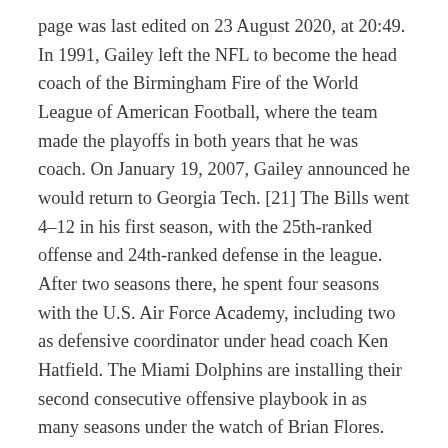page was last edited on 23 August 2020, at 20:49. In 1991, Gailey left the NFL to become the head coach of the Birmingham Fire of the World League of American Football, where the team made the playoffs in both years that he was coach. On January 19, 2007, Gailey announced he would return to Georgia Tech. [21] The Bills went 4–12 in his first season, with the 25th-ranked offense and 24th-ranked defense in the league. After two seasons there, he spent four seasons with the U.S. Air Force Academy, including two as defensive coordinator under head coach Ken Hatfield. The Miami Dolphins are installing their second consecutive offensive playbook in as many seasons under the watch of Brian Flores.
In his second season at the helm in 1984, he led his #3-ranked Trojans to a 12–1 record en route